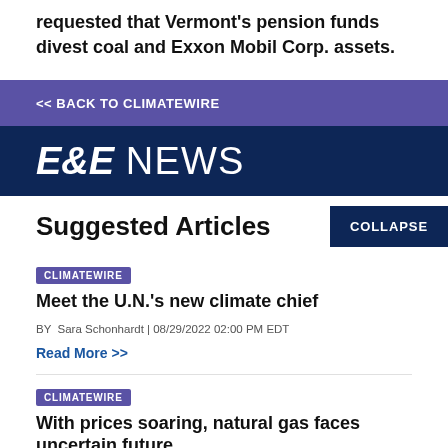requested that Vermont's pension funds divest coal and Exxon Mobil Corp. assets.
<< BACK TO CLIMATEWIRE
[Figure (logo): E&E NEWS logo in white on dark navy background]
Suggested Articles
CLIMATEWIRE
Meet the U.N.'s new climate chief
BY  Sara Schonhardt | 08/29/2022 02:00 PM EDT
Read More >>
CLIMATEWIRE
With prices soaring, natural gas faces uncertain future